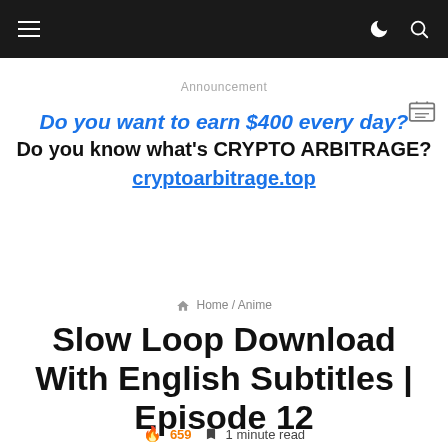≡ Navigation bar with hamburger menu, moon icon, search icon
Announcement
[Figure (other): Small icon in top right of ad area]
Do you want to earn $400 every day? Do you know what's CRYPTO ARBITRAGE? cryptoarbitrage.top
Home / Anime
Slow Loop Download With English Subtitles | Episode 12
🔥 659  🔖 1 minute read